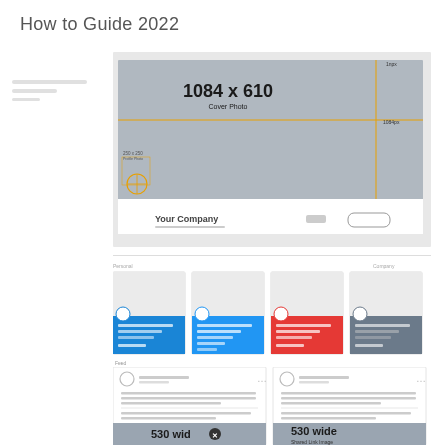How to Guide 2022
[Figure (infographic): LinkedIn company page cover photo diagram showing dimensions 1084 x 610 for cover photo, 250 x 250 for profile photo, with orange crosshair guidelines and 'Your Company' text]
[Figure (infographic): Four LinkedIn post card thumbnails with colored bottoms: blue (dark), blue (light), red, and gray/slate, showing avatar circles and text lines]
[Figure (infographic): Two LinkedIn shared link post mockups side by side, each showing a post header with avatar and name lines, text content lines, separator, and a gray bottom section labeled '530 wide Shared Link Image']